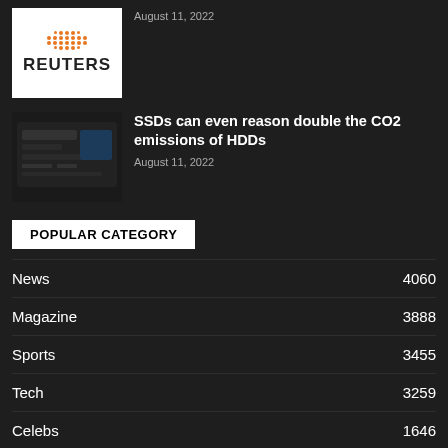[Figure (logo): Reuters logo — orange dot pattern above the word REUTERS in bold black on white background]
August 11, 2022
[Figure (photo): Dark photograph of computer hardware, likely an SSD drive installed in a device]
SSDs can even reason double the CO2 emissions of HDDs
August 11, 2022
POPULAR CATEGORY
News 4060
Magazine 3888
Sports 3455
Tech 3259
Celebs 1646
Sci-Fi 1611
Economy 1600